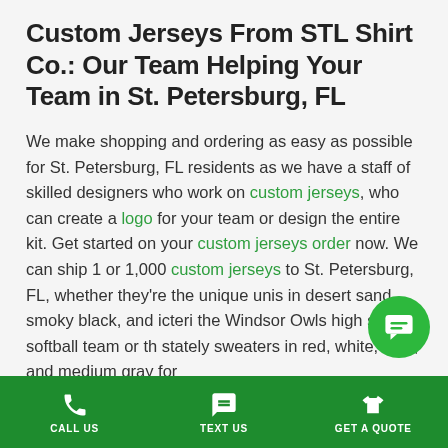Custom Jerseys From STL Shirt Co.: Our Team Helping Your Team in St. Petersburg, FL
We make shopping and ordering as easy as possible for St. Petersburg, FL residents as we have a staff of skilled designers who work on custom jerseys, who can create a logo for your team or design the entire kit. Get started on your custom jerseys order now. We can ship 1 or 1,000 custom jerseys to St. Petersburg, FL, whether they're the unique unis in desert sand, smoky black, and icteri... the Windsor Owls high school softball team or th... stately sweaters in red, white, blue, and medium gray for
CALL US | TEXT US | GET A QUOTE